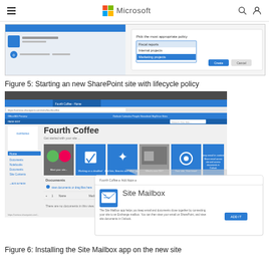Microsoft
[Figure (screenshot): Screenshot of SharePoint site creation dialog showing lifecycle policy selection with options: Fiscal reports, Internal projects, Marketing projects]
Figure 5: Starting an new SharePoint site with lifecycle policy
[Figure (screenshot): Screenshot of SharePoint Online site for Fourth Coffee showing the site homepage with document tiles and a Site Mailbox app installation popup]
Figure 6: Installing the Site Mailbox app on the new site